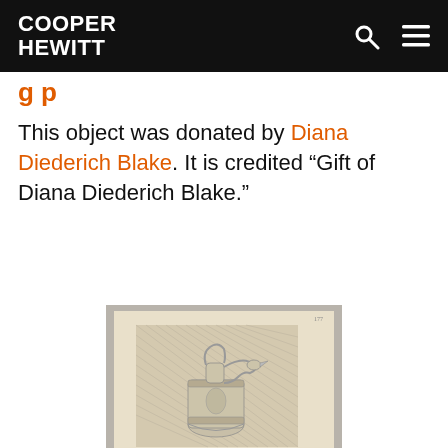COOPER HEWITT
This object was donated by Diana Diederich Blake. It is credited “Gift of Diana Diederich Blake.”
[Figure (photo): Photograph of an engraving showing an ornate antique ewer or vase with a bird-head handle, decorative bands, and figural relief on the body, displayed against a hatched background on aged paper.]